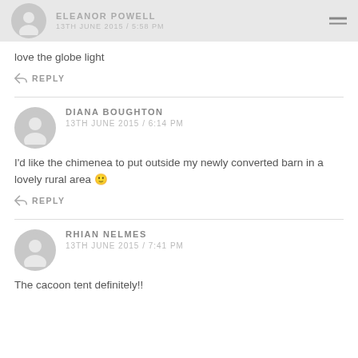ELEANOR POWELL
13TH JUNE 2015 / 5:58 PM
love the globe light
REPLY
DIANA BOUGHTON
13TH JUNE 2015 / 6:14 PM
I'd like the chimenea to put outside my newly converted barn in a lovely rural area 🙂
REPLY
RHIAN NELMES
13TH JUNE 2015 / 7:41 PM
The cacoon tent definitely!!